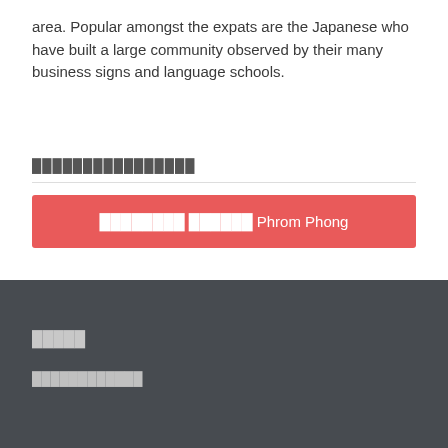area. Popular amongst the expats are the Japanese who have built a large community observed by their many business signs and language schools.
████████████████
████████ ██████ Phrom Phong
█████
████████████